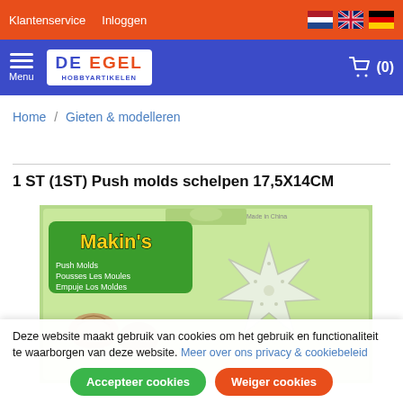Klantenservice  Inloggen
[Figure (logo): De Egel Hobbyartikelen logo with hamburger menu icon and shopping cart (0)]
Home / Gieten & modelleren
1 ST (1ST) Push molds schelpen 17,5X14CM
[Figure (photo): Product image: Makin's Push Molds packaging showing seashells and starfish shapes on green background. Text: Push Molds, Pousses Les Moules, Empuje Los Moldes]
Deze website maakt gebruik van cookies om het gebruik en functionaliteit te waarborgen van deze website. Meer over ons privacy & cookiebeleid
Accepteer cookies  Weiger cookies